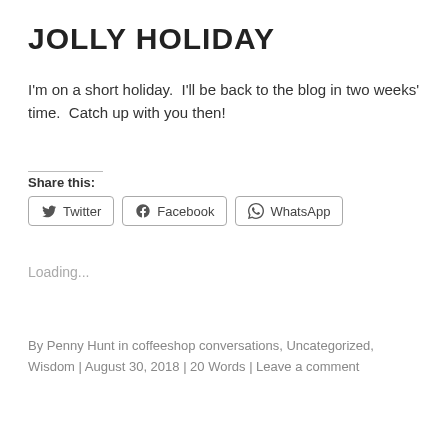JOLLY HOLIDAY
I'm on a short holiday.  I'll be back to the blog in two weeks' time.  Catch up with you then!
Share this:
Loading...
By Penny Hunt in coffeeshop conversations, Uncategorized, Wisdom | August 30, 2018 | 20 Words | Leave a comment